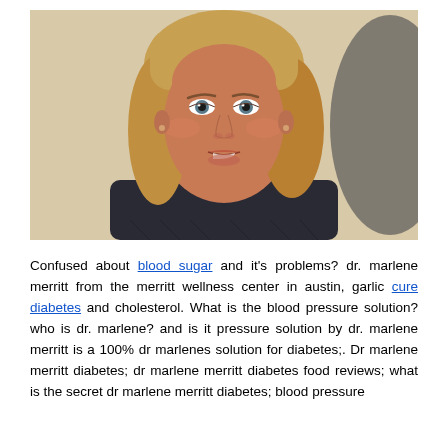[Figure (photo): A middle-aged woman with blonde shoulder-length hair, wearing a dark top with a necklace, speaking or being interviewed. Light-colored wall background with a dark shadow on the right.]
Confused about blood sugar and it's problems? dr. marlene merritt from the merritt wellness center in austin, garlic cure diabetes and cholesterol. What is the blood pressure solution? who is dr. marlene? and is it pressure solution by dr. marlene merritt is a 100% dr marlenes solution for diabetes;. Dr marlene merritt diabetes; dr marlene merritt diabetes food reviews; what is the secret dr marlene merritt diabetes; blood pressure